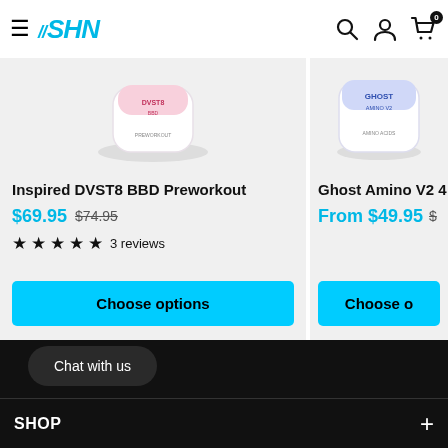SHN store header with hamburger menu, logo, search, account, and cart icons
[Figure (photo): Product image of Inspired DVST8 BBD Preworkout supplement container, pink/white coloring]
Inspired DVST8 BBD Preworkout
$69.95  $74.95
★★★★★ 3 reviews
Choose options
[Figure (photo): Product image of Ghost Amino V2 40 (partially visible)]
Ghost Amino V2 4(0)
From $49.95  $(partially visible price)
Choose o(ptions) - partially visible
Chat with us
SHOP